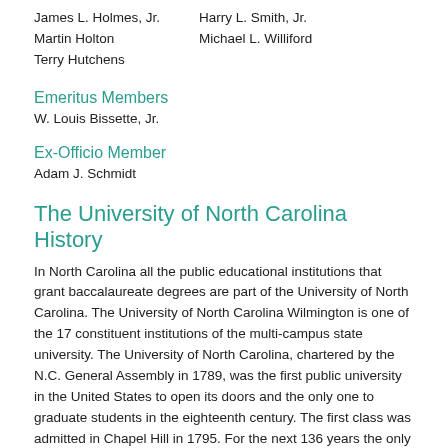James L. Holmes, Jr.  Harry L. Smith, Jr.
Martin Holton          Michael L. Williford
Terry Hutchens
Emeritus Members
W. Louis Bissette, Jr.
Ex-Officio Member
Adam J. Schmidt
The University of North Carolina History
In North Carolina all the public educational institutions that grant baccalaureate degrees are part of the University of North Carolina. The University of North Carolina Wilmington is one of the 17 constituent institutions of the multi-campus state university. The University of North Carolina, chartered by the N.C. General Assembly in 1789, was the first public university in the United States to open its doors and the only one to graduate students in the eighteenth century. The first class was admitted in Chapel Hill in 1795. For the next 136 years the only campus of the University of North Carolina was at Chapel Hill.